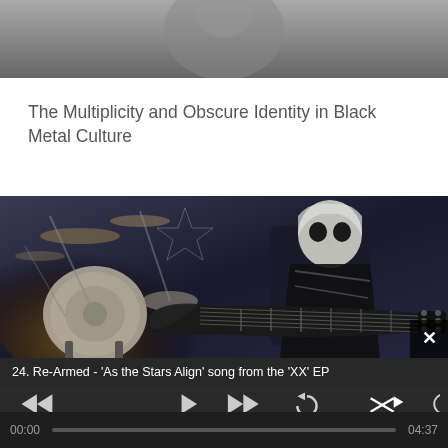[Figure (photo): Top portion of a black and white photo, partially visible, appears to show a person — part of an article card about Black Metal Culture]
The Multiplicity and Obscure Identity in Black Metal Culture
[Figure (photo): Photograph of a black metal musician in skull face paint and dark costume playing a dark electric guitar on stage, with a drummer and elaborate drum kit visible in the background. A close/dismiss button (X) appears in the bottom-right corner of the image.]
24. Re-Armed - 'As the Stars Align' song from the 'XX' EP
[Figure (other): Media player controls bar with rewind, play, fast-forward, repeat, shuffle, clock, external link, and volume icons]
00:00
04:37